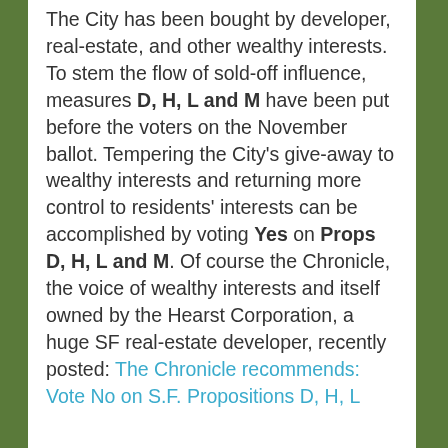The City has been bought by developer, real-estate, and other wealthy interests.  To stem the flow of sold-off influence, measures D, H, L and M have been put before the voters on the November ballot. Tempering the City's give-away to wealthy interests and returning more control to residents' interests can be accomplished by voting Yes on Props D, H, L and M. Of course the Chronicle, the voice of wealthy interests and itself owned by the Hearst Corporation, a huge SF real-estate developer, recently posted: The Chronicle recommends: Vote No on S.F. Propositions D, H, L